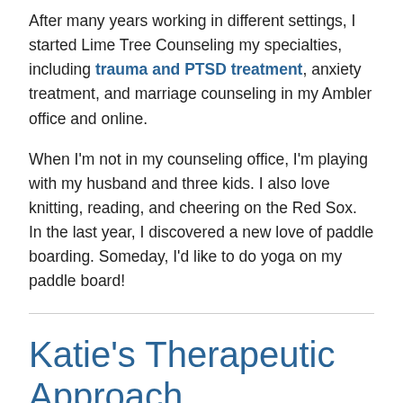After many years working in different settings, I started Lime Tree Counseling my specialties, including trauma and PTSD treatment, anxiety treatment, and marriage counseling in my Ambler office and online.
When I'm not in my counseling office, I'm playing with my husband and three kids. I also love knitting, reading, and cheering on the Red Sox. In the last year, I discovered a new love of paddle boarding. Someday, I'd like to do yoga on my paddle board!
Katie's Therapeutic Approach